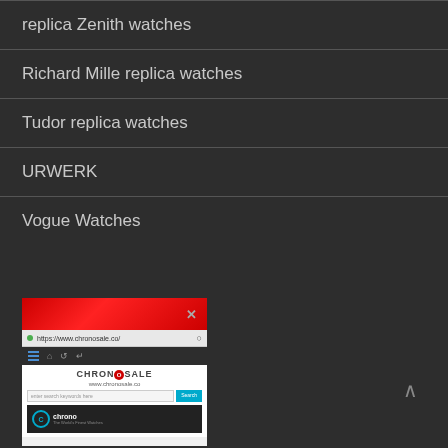replica Zenith watches
Richard Mille replica watches
Tudor replica watches
URWERK
Vogue Watches
[Figure (screenshot): A browser screenshot popup showing the ChronoSale website (www.chronosale.co) with a red header bar with close X, URL bar showing https://www.chronosale.co/, a dark navigation toolbar, the CHRONOSALE logo, a search bar with Search button, and a chrono banner at the bottom.]